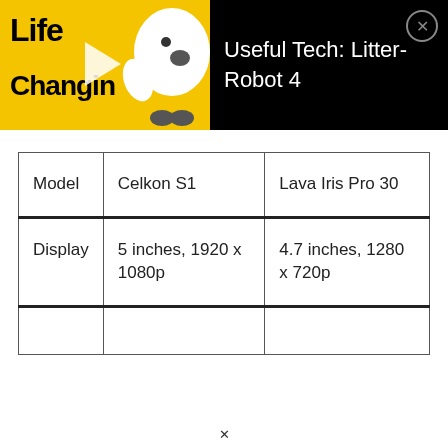[Figure (screenshot): Video thumbnail banner with yellow background showing 'Life Changin' text and a white robot figure, alongside black background with title 'Useful Tech: Litter-Robot 4' and a close button]
| Model | Celkon S1 | Lava Iris Pro 30 |
| Display | 5 inches, 1920 x 1080p | 4.7 inches, 1280 x 720p |
|  |  |  |